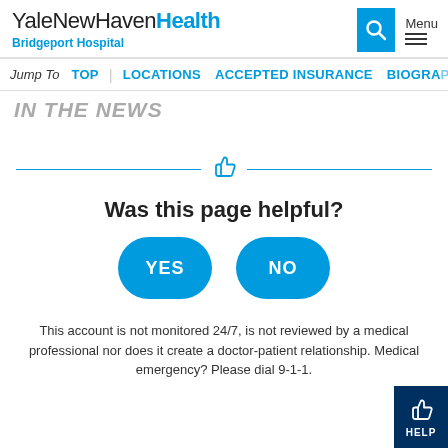YaleNewHavenHealth Bridgeport Hospital
Jump To  TOP  |  LOCATIONS  ACCEPTED INSURANCE  BIOGRAP
In The News
Was this page helpful?
YES   NO
This account is not monitored 24/7, is not reviewed by a medical professional nor does it create a doctor-patient relationship. Medical emergency? Please dial 9-1-1.
HELP